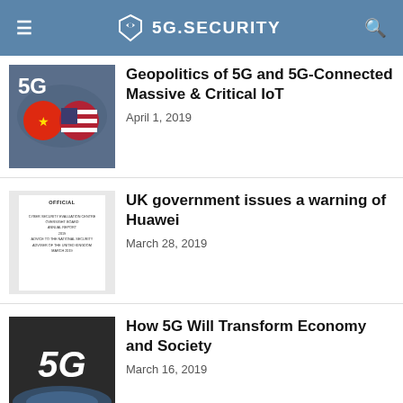5G.SECURITY
Geopolitics of 5G and 5G-Connected Massive & Critical IoT
April 1, 2019
UK government issues a warning of Huawei
March 28, 2019
How 5G Will Transform Economy and Society
March 16, 2019